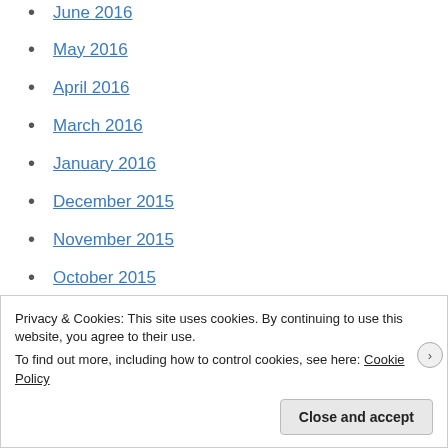June 2016
May 2016
April 2016
March 2016
January 2016
December 2015
November 2015
October 2015
September 2015
August 2015
July 2015
June 2015
Privacy & Cookies: This site uses cookies. By continuing to use this website, you agree to their use. To find out more, including how to control cookies, see here: Cookie Policy
Close and accept